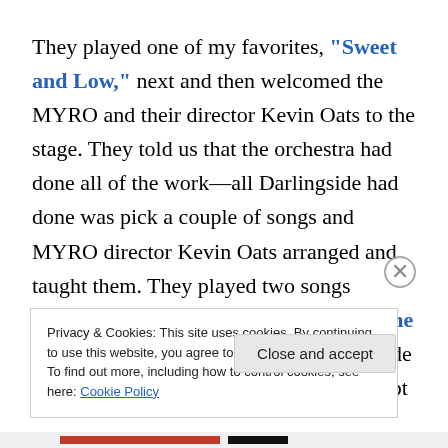They played one of my favorites, "Sweet and Low," next and then welcomed the MYRO and their director Kevin Oats to the stage. They told us that the orchestra had done all of the work—all Darlingside had done was pick a couple of songs and MYRO director Kevin Oats arranged and taught them. They played two songs together—"The Ancestor" and "Blow the House Down." The guys from Darlingside were all smiles during both songs and kept
Privacy & Cookies: This site uses cookies. By continuing to use this website, you agree to their use. To find out more, including how to control cookies, see here: Cookie Policy
Close and accept